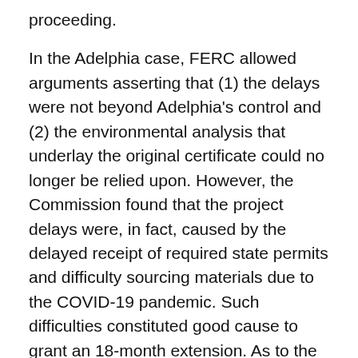proceeding.
In the Adelphia case, FERC allowed arguments asserting that (1) the delays were not beyond Adelphia's control and (2) the environmental analysis that underlay the original certificate could no longer be relied upon. However, the Commission found that the project delays were, in fact, caused by the delayed receipt of required state permits and difficulty sourcing materials due to the COVID-19 pandemic. Such difficulties constituted good cause to grant an 18-month extension. As to the validity of the underlying environmental impacts, FERC found that an 18-month extension of an original two-year period would not be beyond the time period